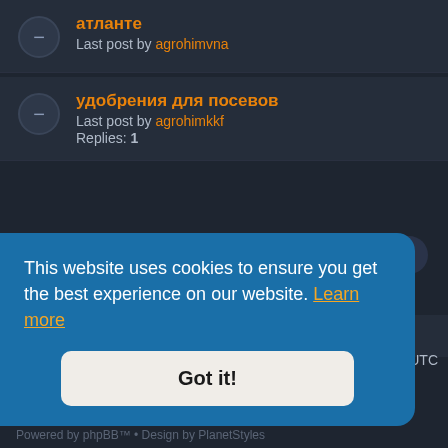атланте
Last post by agrohimvna
удобрения для посевов
Last post by agrohimkkf
Replies: 1
Jump to ▾
Information
This website uses cookies to ensure you get the best experience on our website. Learn more
Got it!
are UTC
Powered by phpBB™ • Design by PlanetStyles